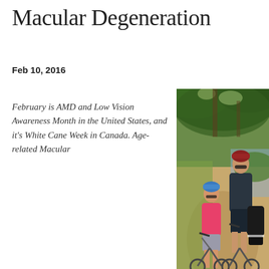Macular Degeneration
Feb 10, 2016
February is AMD and Low Vision Awareness Month in the United States, and it's White Cane Week in Canada. Age-related Macular
[Figure (photo): A child and an adult on bicycles on a dirt path surrounded by green trees and vegetation. The child wears a blue helmet and pink top with gray shorts. The adult wears a red helmet, sunglasses, and dark clothing.]